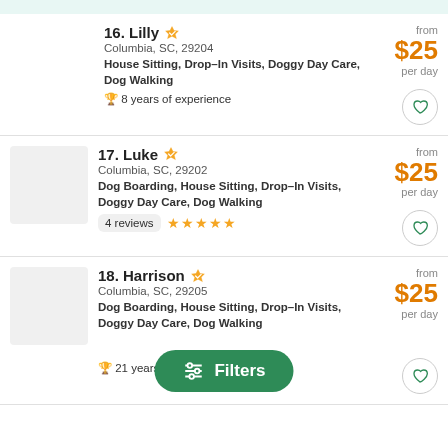16. Lilly — Columbia, SC, 29204 — House Sitting, Drop-In Visits, Doggy Day Care, Dog Walking — 8 years of experience — from $25 per day
17. Luke — Columbia, SC, 29202 — Dog Boarding, House Sitting, Drop-In Visits, Doggy Day Care, Dog Walking — 4 reviews ★★★★★ — from $25 per day
18. Harrison — Columbia, SC, 29205 — Dog Boarding, House Sitting, Drop-In Visits, Doggy Day Care — 21 years of experience — from $25 per day